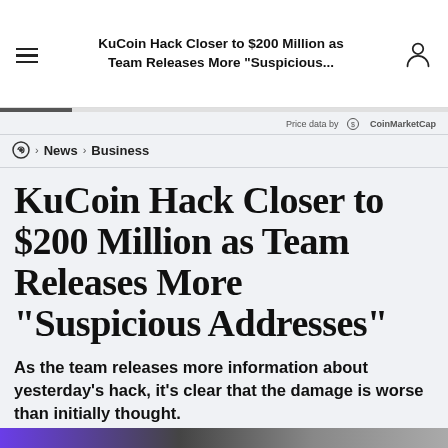KuCoin Hack Closer to $200 Million as Team Releases More "Suspicious..."
Price data by CoinMarketCap
News › Business
KuCoin Hack Closer to $200 Million as Team Releases More "Suspicious Addresses"
As the team releases more information about yesterday's hack, it's clear that the damage is worse than initially thought.
By Robert Stevens
Sep 26, 2020
2 min read